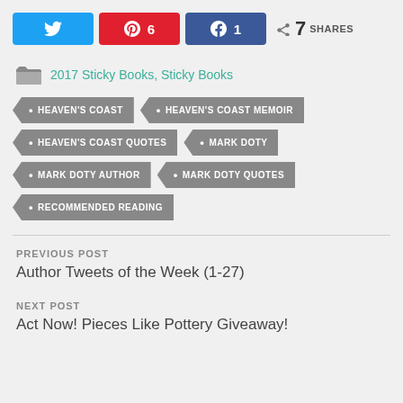[Figure (infographic): Social share buttons: Twitter, Pinterest (6), Facebook (1), and total 7 SHARES]
2017 Sticky Books, Sticky Books
HEAVEN'S COAST
HEAVEN'S COAST MEMOIR
HEAVEN'S COAST QUOTES
MARK DOTY
MARK DOTY AUTHOR
MARK DOTY QUOTES
RECOMMENDED READING
PREVIOUS POST
Author Tweets of the Week (1-27)
NEXT POST
Act Now! Pieces Like Pottery Giveaway!